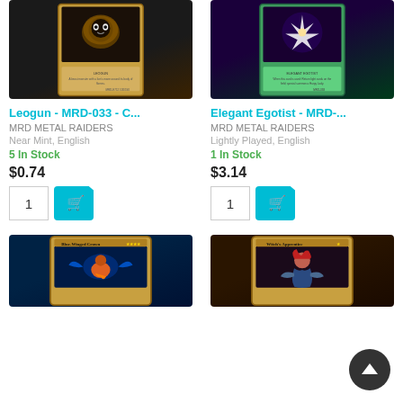[Figure (photo): Yu-Gi-Oh trading card: Leogun - MRD-033]
[Figure (photo): Yu-Gi-Oh trading card: Elegant Egotist - MRD]
Leogun - MRD-033 - C...
Elegant Egotist - MRD-...
MRD METAL RAIDERS
MRD METAL RAIDERS
Near Mint, English
Lightly Played, English
5 In Stock
1 In Stock
$0.74
$3.14
[Figure (photo): Yu-Gi-Oh trading card: Blue-Winged Crown]
[Figure (photo): Yu-Gi-Oh trading card: Witch's Apprentice]